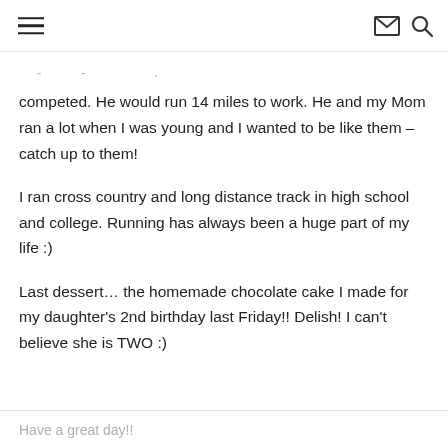≡  ✉  🔍
competed. He would run 14 miles to work. He and my Mom ran a lot when I was young and I wanted to be like them – catch up to them!
I ran cross country and long distance track in high school and college. Running has always been a huge part of my life :)
Last dessert… the homemade chocolate cake I made for my daughter's 2nd birthday last Friday!! Delish! I can't believe she is TWO :)
Have a great day!!